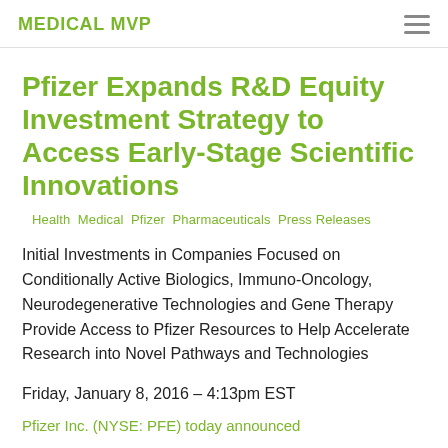MEDICAL MVP
Pfizer Expands R&D Equity Investment Strategy to Access Early-Stage Scientific Innovations
Health  Medical  Pfizer  Pharmaceuticals  Press Releases
Initial Investments in Companies Focused on Conditionally Active Biologics, Immuno-Oncology, Neurodegenerative Technologies and Gene Therapy Provide Access to Pfizer Resources to Help Accelerate Research into Novel Pathways and Technologies
Friday, January 8, 2016 – 4:13pm EST
Pfizer Inc. (NYSE: PFE) today announced...